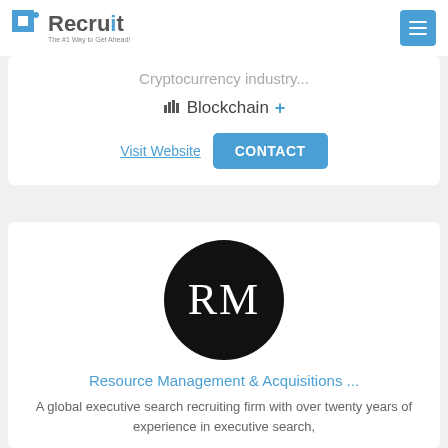Recruit — The #1 Way to Get Ahead!
Cryptocurrency industry...
Blockchain +
Visit Website  CONTACT
[Figure (logo): Black circle with white RM letters — Resource Management & Acquisitions logo]
Resource Management & Acquisitions ...
A global executive search recruiting firm with over twenty years of experience in executive search,